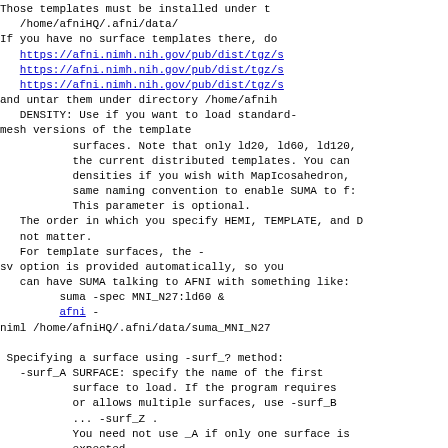Those templates must be installed under t
   /home/afniHQ/.afni/data/
If you have no surface templates there, do
   https://afni.nimh.nih.gov/pub/dist/tgz/s
   https://afni.nimh.nih.gov/pub/dist/tgz/s
   https://afni.nimh.nih.gov/pub/dist/tgz/s
and untar them under directory /home/afnih
   DENSITY: Use if you want to load standard-
mesh versions of the template
           surfaces. Note that only ld20, ld60, ld120,
           the current distributed templates. You can
           densities if you wish with MapIcosahedron,
           same naming convention to enable SUMA to f:
           This parameter is optional.
   The order in which you specify HEMI, TEMPLATE, and D
   not matter.
   For template surfaces, the -
sv option is provided automatically, so you
   can have SUMA talking to AFNI with something like:
         suma -spec MNI_N27:ld60 &
         afni -
niml /home/afniHQ/.afni/data/suma_MNI_N27

 Specifying a surface using -surf_? method:
   -surf_A SURFACE: specify the name of the first
           surface to load. If the program requires
           or allows multiple surfaces, use -surf_B
           ... -surf_Z .
           You need not use _A if only one surface is
           expected.
           SURFACE is the name of the surface as specif